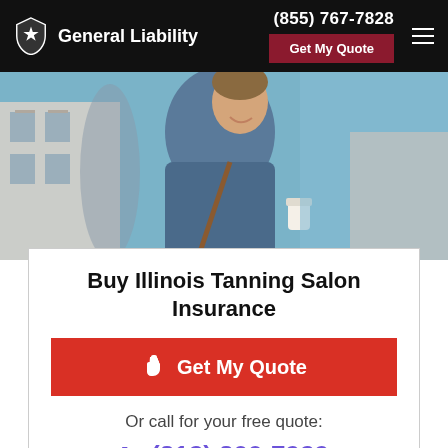General Liability | (855) 767-7828 | Get My Quote
[Figure (photo): Man in blue jacket smiling, holding a coffee cup, outdoors with blue sky background]
Buy Illinois Tanning Salon Insurance
Get My Quote
Or call for your free quote:
(312) 300-7929